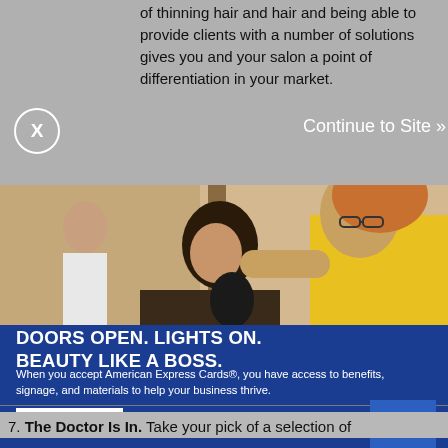of thinning hair and hair and being able to provide clients with a number of solutions gives you and your salon a point of differentiation in your market.
[Figure (photo): Advertisement banner showing a hairdresser in a yellow shirt styling a client's hair in a salon setting, with blue background and American Express branding. Headline: DOORS OPEN. LIGHTS ON. BEAUTY LIKE A BOSS. Body: When you accept American Express Cards®, you have access to benefits, signage, and materials to help your business thrive. Button: Learn More.]
7. The Doctor Is In. Take your pick of a selection of